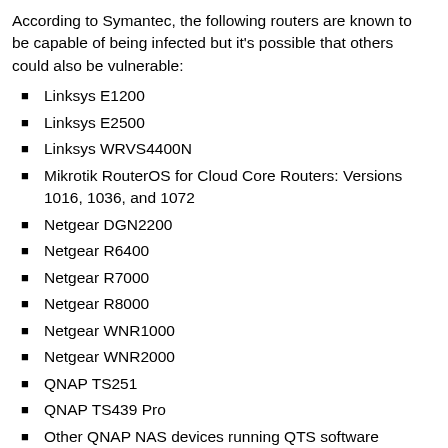According to Symantec, the following routers are known to be capable of being infected but it's possible that others could also be vulnerable:
Linksys E1200
Linksys E2500
Linksys WRVS4400N
Mikrotik RouterOS for Cloud Core Routers: Versions 1016, 1036, and 1072
Netgear DGN2200
Netgear R6400
Netgear R7000
Netgear R8000
Netgear WNR1000
Netgear WNR2000
QNAP TS251
QNAP TS439 Pro
Other QNAP NAS devices running QTS software
TP-Link R600VPN